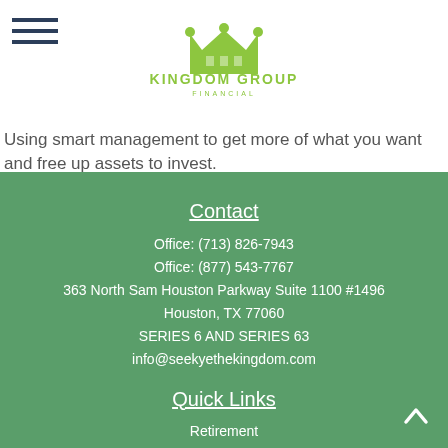[Figure (logo): Kingdom Group Financial logo with crown icon and green text]
Using smart management to get more of what you want and free up assets to invest.
Contact
Office: (713) 826-7943
Office: (877) 543-7767
363 North Sam Houston Parkway Suite 1100 #1496
Houston, TX 77060
SERIES 6 AND SERIES 63
info@seekyethekingdom.com
Quick Links
Retirement
Investment
Estate